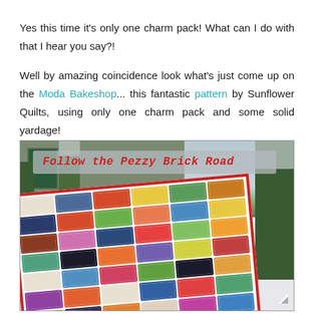Yes this time it's only one charm pack! What can I do with that I hear you say?! Well by amazing coincidence look what's just come up on the Moda Bakeshop... this fantastic pattern by Sunflower Quilts, using only one charm pack and some solid yardage!
[Figure (photo): Photo of a colorful patchwork quilt with red border draped over bushes in a snowy garden, with a text overlay reading 'Follow the Pezzy Brick Road' in red cursive on a grey transparent banner.]